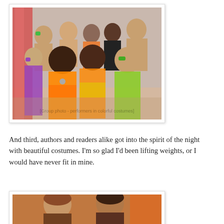[Figure (photo): Group photo of shirtless male performers in colorful costumes (orange, green, yellow, purple sarongs and headbands) posing with two women, indoors.]
And third, authors and readers alike got into the spirit of the night with beautiful costumes. I'm so glad I'd been lifting weights, or I would have never fit in mine.
[Figure (photo): Partial photo of two people in costume, one wearing an orange head covering, at what appears to be an indoor event.]